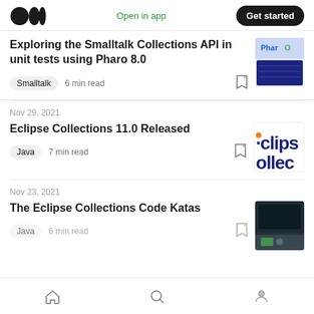Medium app header with logo, 'Open in app' link, and 'Get started' button
Exploring the Smalltalk Collections API in unit tests using Pharo 8.0
Smalltalk  6 min read
Nov 29, 2021
Eclipse Collections 11.0 Released
Java  7 min read
Nov 23, 2021
The Eclipse Collections Code Katas
Java  6 min read
Bottom navigation: Home, Search, Profile